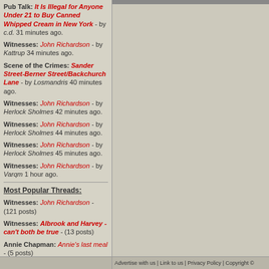Pub Talk: It Is Illegal for Anyone Under 21 to Buy Canned Whipped Cream in New York - by c.d. 31 minutes ago.
Witnesses: John Richardson - by Kattrup 34 minutes ago.
Scene of the Crimes: Sander Street-Berner Street/Backchurch Lane - by Losmandris 40 minutes ago.
Witnesses: John Richardson - by Herlock Sholmes 42 minutes ago.
Witnesses: John Richardson - by Herlock Sholmes 44 minutes ago.
Witnesses: John Richardson - by Herlock Sholmes 45 minutes ago.
Witnesses: John Richardson - by Varqm 1 hour ago.
Most Popular Threads:
Witnesses: John Richardson - (121 posts)
Witnesses: Albrook and Harvey - can't both be true - (13 posts)
Annie Chapman: Annie's last meal - (5 posts)
Doctors and Coroners: The English Language and the purpose of a caveat. - (4 posts)
Scene of the Crimes: Sander Street-Berner Street/Backchurch Lane - (2 posts)
Motive, Method and Madness: How many victims? - (1 post)
Advertise with us | Link to us | Privacy Policy | Copyright ©